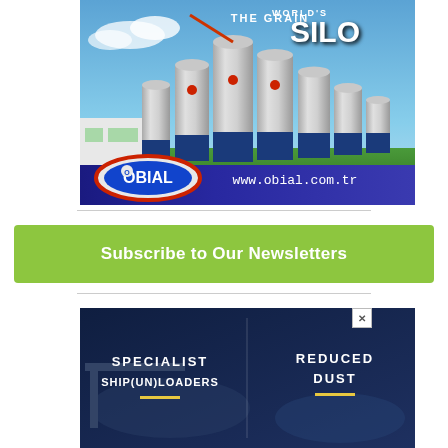[Figure (photo): OBIAL grain silo advertisement showing large industrial silos against a blue sky with green grass. Text reads THE GRAIN WORLD'S SILO. OBIAL logo with www.obial.com.tr website shown at bottom.]
[Figure (other): Green subscribe button with text: Subscribe to Our Newsletters]
[Figure (photo): Dark blue advertisement showing SPECIALIST SHIP(UN)LOADERS on left and REDUCED DUST on right with a close/X button in top right corner.]